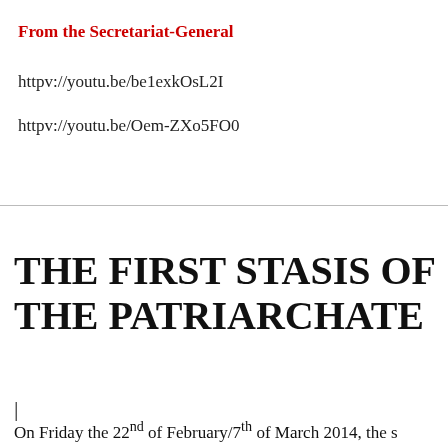From the Secretariat-General
httpv://youtu.be/be1exkOsL2I
httpv://youtu.be/Oem-ZXo5FO0
THE FIRST STASIS OF THE PATRIARCHATE
|
On Friday the 22nd of February/7th of March 2014, the s